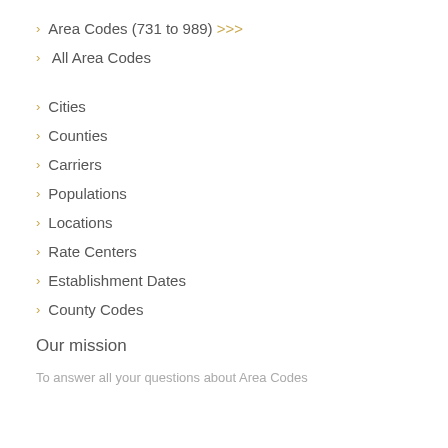Area Codes (731 to 989) >>>
All Area Codes
Cities
Counties
Carriers
Populations
Locations
Rate Centers
Establishment Dates
County Codes
Our mission
To answer all your questions about Area Codes